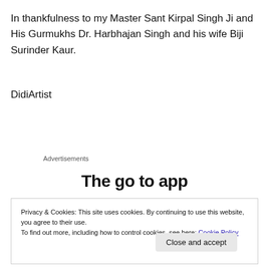In thankfulness to my Master Sant Kirpal Singh Ji and His Gurmukhs Dr. Harbhajan Singh and his wife Biji Surinder Kaur.
DidiArtist
Advertisements
[Figure (other): Partially visible advertisement banner with large bold text 'The go to app']
Privacy & Cookies: This site uses cookies. By continuing to use this website, you agree to their use.
To find out more, including how to control cookies, see here: Cookie Policy